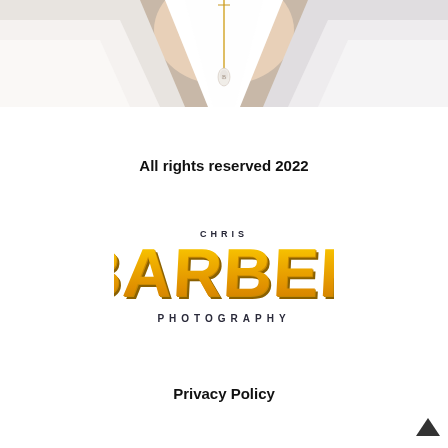[Figure (photo): Close-up photo of a person wearing a white shirt/blouse with a gold necklace with pearl pendant, cropped at upper torso/neckline]
All rights reserved 2022
[Figure (logo): Chris Barber Photography logo — bold yellow BARBER text with CHRIS above and PHOTOGRAPHY below in dark letters]
Privacy Policy